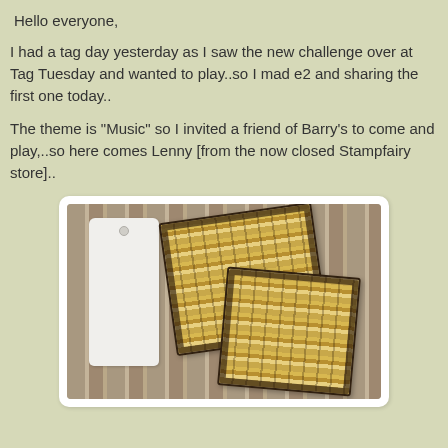Hello everyone,
I had a tag day yesterday as I saw the new challenge over at Tag Tuesday and wanted to play..so I mad e2 and sharing the first one today..
The theme is "Music" so I invited a friend of Barry's to come and play,..so here comes Lenny [from the now closed Stampfairy store]..
[Figure (photo): A white gift tag and two overlapping pieces of patterned paper with music sheet / striped gold and black design, laid on a wooden surface background.]